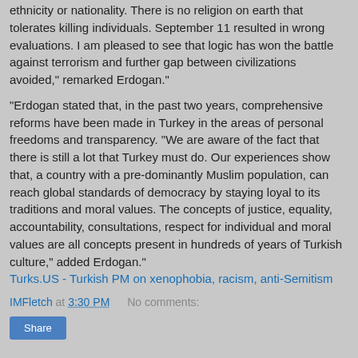ethnicity or nationality. There is no religion on earth that tolerates killing individuals. September 11 resulted in wrong evaluations. I am pleased to see that logic has won the battle against terrorism and further gap between civilizations avoided," remarked Erdogan."
"Erdogan stated that, in the past two years, comprehensive reforms have been made in Turkey in the areas of personal freedoms and transparency. "We are aware of the fact that there is still a lot that Turkey must do. Our experiences show that, a country with a pre-dominantly Muslim population, can reach global standards of democracy by staying loyal to its traditions and moral values. The concepts of justice, equality, accountability, consultations, respect for individual and moral values are all concepts present in hundreds of years of Turkish culture," added Erdogan."
Turks.US - Turkish PM on xenophobia, racism, anti-Semitism
IMFletch at 3:30 PM    No comments:
Share
SUNDAY, MAY 15, 2005